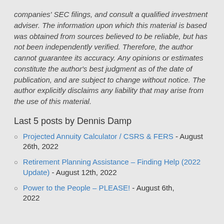companies' SEC filings, and consult a qualified investment adviser. The information upon which this material is based was obtained from sources believed to be reliable, but has not been independently verified. Therefore, the author cannot guarantee its accuracy. Any opinions or estimates constitute the author's best judgment as of the date of publication, and are subject to change without notice. The author explicitly disclaims any liability that may arise from the use of this material.
Last 5 posts by Dennis Damp
Projected Annuity Calculator / CSRS & FERS - August 26th, 2022
Retirement Planning Assistance – Finding Help (2022 Update) - August 12th, 2022
Power to the People – PLEASE! - August 6th, 2022